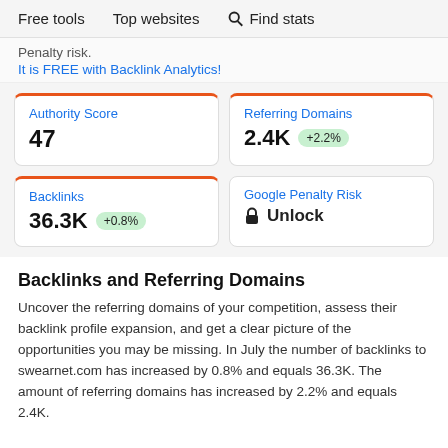Free tools   Top websites   Find stats
Penalty risk.
It is FREE with Backlink Analytics!
| Metric | Value | Change |
| --- | --- | --- |
| Authority Score | 47 |  |
| Referring Domains | 2.4K | +2.2% |
| Backlinks | 36.3K | +0.8% |
| Google Penalty Risk | Unlock |  |
Backlinks and Referring Domains
Uncover the referring domains of your competition, assess their backlink profile expansion, and get a clear picture of the opportunities you may be missing. In July the number of backlinks to swearnet.com has increased by 0.8% and equals 36.3K. The amount of referring domains has increased by 2.2% and equals 2.4K.